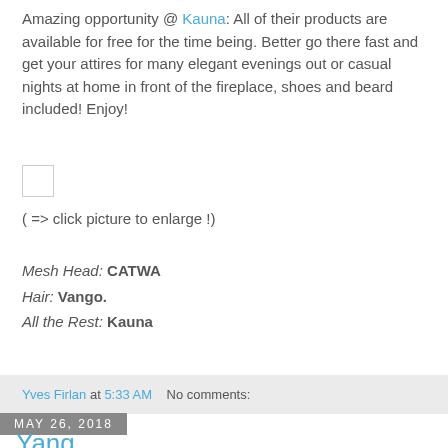Amazing opportunity @ Kauna: All of their products are available for free for the time being. Better go there fast and get your attires for many elegant evenings out or casual nights at home in front of the fireplace, shoes and beard included! Enjoy!
[Figure (other): Small placeholder image thumbnail (checkbox-like square)]
( => click picture to enlarge !)
Mesh Head: CATWA
Hair: Vango.
All the Rest: Kauna
Yves Firlan at 5:33 AM   No comments:
May 26, 2018
Yang